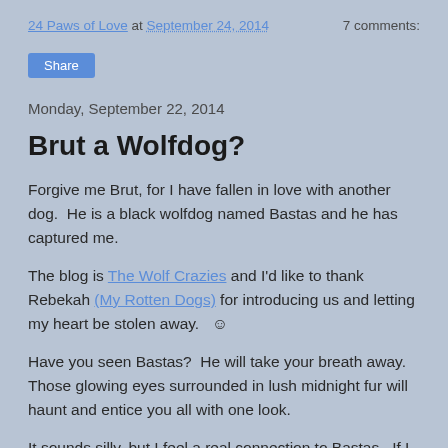24 Paws of Love at September 24, 2014    7 comments:
Share
Monday, September 22, 2014
Brut a Wolfdog?
Forgive me Brut, for I have fallen in love with another dog.  He is a black wolfdog named Bastas and he has captured me.
The blog is The Wolf Crazies and I'd like to thank Rebekah (My Rotten Dogs) for introducing us and letting my heart be stolen away.   ☺
Have you seen Bastas?  He will take your breath away.  Those glowing eyes surrounded in lush midnight fur will haunt and entice you all with one look.
It sounds silly, but I feel a real connection to Bastas.  If I ever